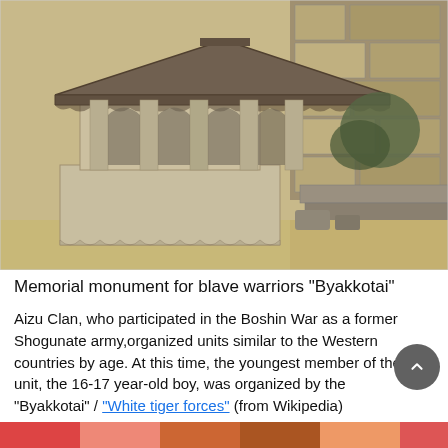[Figure (photo): A stone memorial monument with a traditional East Asian pagoda-style roof, stone pillars, and a rectangular stone base with decorative scalloped edge, set outdoors against a stone wall background.]
Memorial monument for blave warriors "Byakkotai"
Aizu Clan, who participated in the Boshin War as a former Shogunate army,organized units similar to the Western countries by age. At this time, the youngest member of the unit, the 16-17 year-old boy, was organized by the "Byakkotai" / "White tiger forces" (from Wikipedia)
[Figure (photo): Partial view of a colorful image at the bottom of the page, partially cropped.]